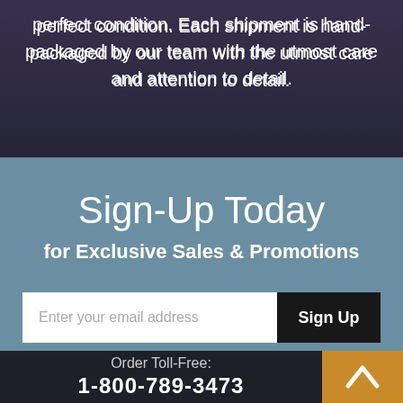perfect condition. Each shipment is hand-packaged by our team with the utmost care and attention to detail.
Sign-Up Today
for Exclusive Sales & Promotions
[Figure (screenshot): Email signup form with text input 'Enter your email address' and a dark 'Sign Up' button]
Order Toll-Free:
1-800-789-3473